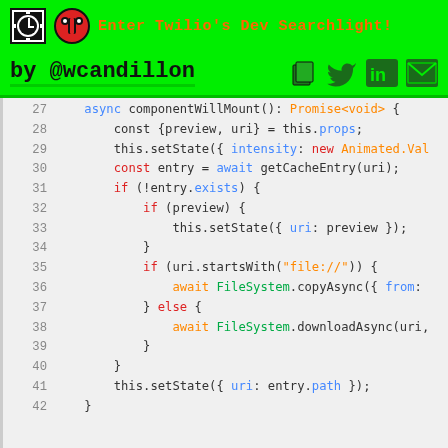Enter Twilio's Dev Searchlight!
by @wcandillon
[Figure (screenshot): Code editor showing TypeScript/JavaScript code lines 27-42, componentWillMount async method]
27  async componentWillMount(): Promise<void> {
28      const {preview, uri} = this.props;
29      this.setState({ intensity: new Animated.Val
30      const entry = await getCacheEntry(uri);
31      if (!entry.exists) {
32          if (preview) {
33              this.setState({ uri: preview });
34          }
35          if (uri.startsWith("file://")) {
36              await FileSystem.copyAsync({ from:
37          } else {
38              await FileSystem.downloadAsync(uri,
39          }
40      }
41      this.setState({ uri: entry.path });
42  }